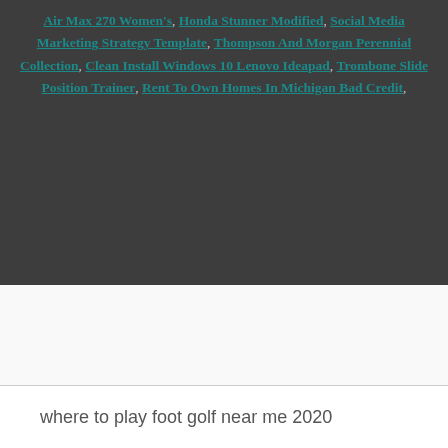Air Max 270 Women's, Honda Stunner Modified, Social Media Marketing Strategy Template, Thompson And Morgan Perennial Collection, Clean Install Windows 10 Lenovo Ideapad, Trombone Slide Position Trainer, Rent To Own Homes In Michigan Bad Credit,
where to play foot golf near me 2020